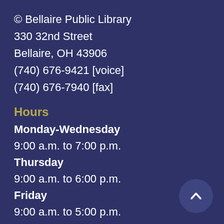© Bellaire Public Library
330 32nd Street
Bellaire, OH 43906
(740) 676-9421 [voice]
(740) 676-7940 [fax]
Hours
Monday-Wednesday
9:00 a.m. to 7:00 p.m.
Thursday
9:00 a.m. to 6:00 p.m.
Friday
9:00 a.m. to 5:00 p.m.
Saturday
9:00 a.m. to 2:00 p.m.
Sunday
CLOSED